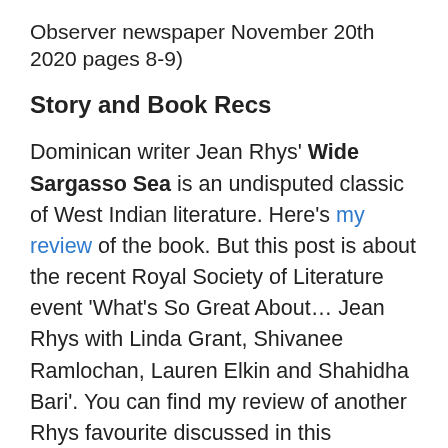Observer newspaper November 20th 2020 pages 8-9)
Story and Book Recs
Dominican writer Jean Rhys' Wide Sargasso Sea is an undisputed classic of West Indian literature. Here's my review of the book. But this post is about the recent Royal Society of Literature event 'What's So Great About… Jean Rhys with Linda Grant, Shivanee Ramlochan, Lauren Elkin and Shahidha Bari'. You can find my review of another Rhys favourite discussed in this conversation, After Leaving Mr McKenzie, here. You can view the whole RLS conversation here. Framing it at the beginning, the Caribbean person on the panel Trinidad and Tobago's Shivanee Ramlochan, said, "In a year in which we are having this phenomenal event, it's heartbreaking to know that Rhys' childhood home in Dominica was demolished in